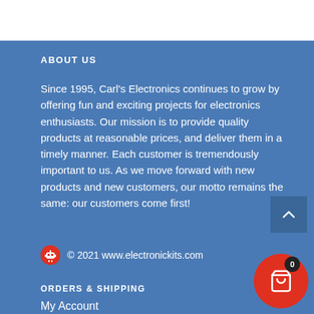ABOUT US
Since 1995, Carl's Electronics continues to grow by offering fun and exciting projects for electronics enthusiasts. Our mission is to provide quality products at reasonable prices, and deliver them in a timely manner. Each customer is tremendously important to us. As we move forward with new products and new customers, our motto remains the same: our customers come first!
© 2021 www.electronickits.com
ORDERS & SHIPPING
My Account